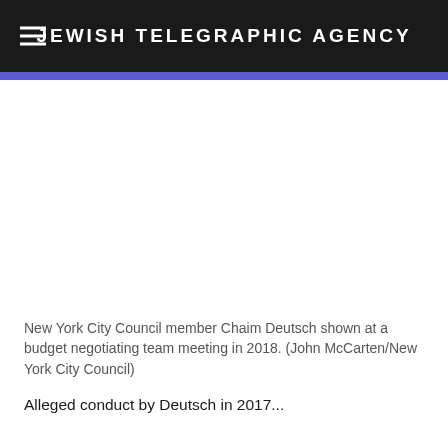JEWISH TELEGRAPHIC AGENCY
[Figure (photo): Photo area showing New York City Council member Chaim Deutsch at a budget negotiating team meeting in 2018.]
New York City Council member Chaim Deutsch shown at a budget negotiating team meeting in 2018. (John McCarten/New York City Council)
Alleged conduct by Deutsch in 2017 is...